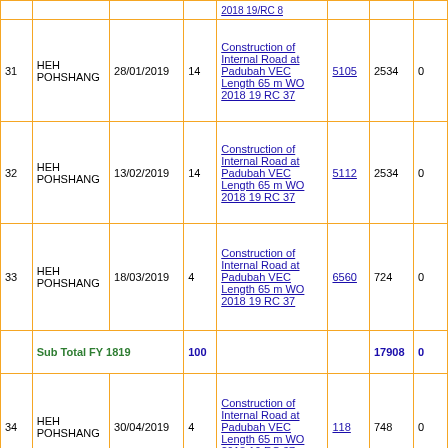| # | Village | Date | No. | Work Order | Voucher | Amount | Remarks |
| --- | --- | --- | --- | --- | --- | --- | --- |
| 31 | HEH POHSHANG | 28/01/2019 | 14 | Construction of Internal Road at Padubah VEC Length 65 m WO 2018 19 RC 37 | 5105 | 2534 | 0 |
| 32 | HEH POHSHANG | 13/02/2019 | 14 | Construction of Internal Road at Padubah VEC Length 65 m WO 2018 19 RC 37 | 5112 | 2534 | 0 |
| 33 | HEH POHSHANG | 18/03/2019 | 4 | Construction of Internal Road at Padubah VEC Length 65 m WO 2018 19 RC 37 | 6560 | 724 | 0 |
|  | Sub Total FY 1819 |  | 100 |  |  | 17908 | 0 |
| 34 | HEH POHSHANG | 30/04/2019 | 4 | Construction of Internal Road at Padubah VEC Length 65 m WO 2018 19 RC 37 | 118 | 748 | 0 |
| 35 | HEH POHSHANG | 19/08/2019 | 14 | Construction of Compound fencing PH VI at Padubah VEC WO 2019 20 FP 8017 | 905 | 2618 | 0 |